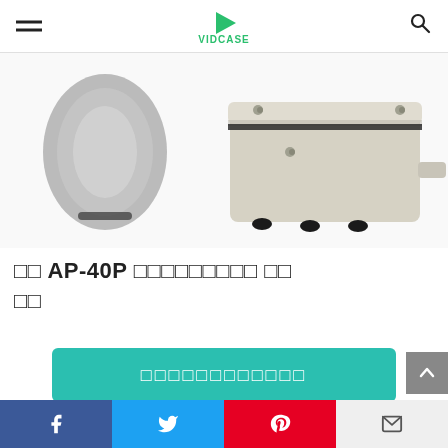VIDCASE
[Figure (photo): Product photo of an AP-40P air pump device, light gray/beige colored box-shaped pump with rubber feet and an outlet nozzle, partial view showing cables on the left]
□□ AP-40P □□□□□□□□□ □□□□
[Figure (other): Teal/green CTA button with Japanese text (placeholder squares)]
Amazon.co.jp
Facebook | Twitter | Pinterest | Mail